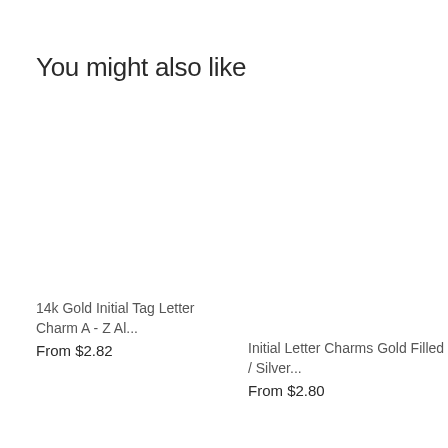You might also like
14k Gold Initial Tag Letter Charm A - Z Al...
From $2.82
Initial Letter Charms Gold Filled / Silver...
From $2.80